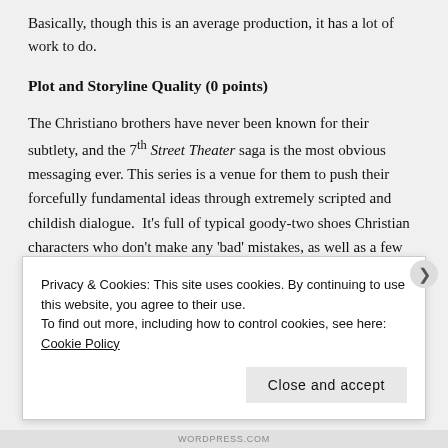Basically, though this is an average production, it has a lot of work to do.
Plot and Storyline Quality (0 points)
The Christiano brothers have never been known for their subtlety, and the 7th Street Theater saga is the most obvious messaging ever. This series is a venue for them to push their forcefully fundamental ideas through extremely scripted and childish dialogue. It's full of typical goody-two shoes Christian characters who don't make any 'bad' mistakes, as well as a few strawman non-Christian characters and allusions to 'bad' things that can't be talked about. This series overall demonstrates just how much the Christiano brothers live in
Privacy & Cookies: This site uses cookies. By continuing to use this website, you agree to their use.
To find out more, including how to control cookies, see here: Cookie Policy